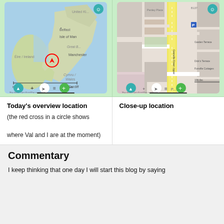[Figure (map): Overview map showing UK/Ireland region with red circle marker near Isle of Man/Eire-Ireland border area, with navigation controls at bottom]
[Figure (map): Close-up street map showing detailed urban area with yellow road, street names including Garden Terrace, Dick's Terrace, Fonville Cottages, navigation controls at bottom]
Today's overview location
(the red cross in a circle shows where Val and I are at the moment)
Close-up location
Commentary
I keep thinking that one day I will start this blog by saying